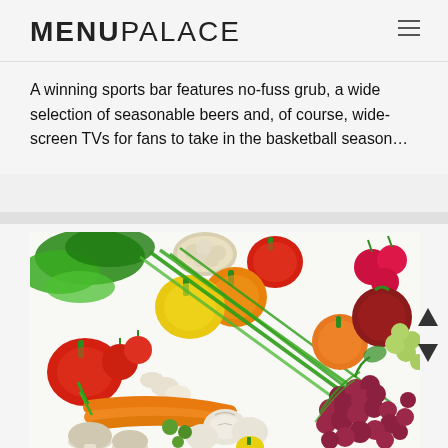MENUPALACE
A winning sports bar features no-fuss grub, a wide selection of seasonable beers and, of course, wide-screen TVs for fans to take in the basketball season…
[Figure (photo): A colorful assortment of fresh vegetables and fruits laid out on a white surface, including bell peppers (red, yellow, orange), green onions, carrots, garlic, mushrooms, grapes, tomatoes, cauliflower, leafy greens, and radishes.]